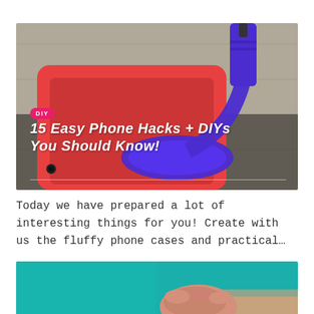[Figure (photo): Purple nail polish being poured onto a red smartphone on a wooden surface]
DIY
15 Easy Phone Hacks + DIYs You Should Know!
Today we have prepared a lot of interesting things for you! Create with us the fluffy phone cases and practical…
[Figure (photo): Hands holding a teal/turquoise object, partial view]